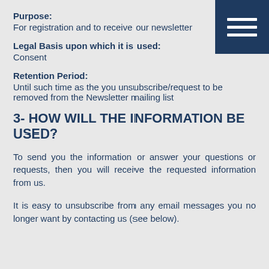Purpose:
For registration and to receive our newsletter
Legal Basis upon which it is used:
Consent
Retention Period:
Until such time as the you unsubscribe/request to be removed from the Newsletter mailing list
3- HOW WILL THE INFORMATION BE USED?
To send you the information or answer your questions or requests, then you will receive the requested information from us.
It is easy to unsubscribe from any email messages you no longer want by contacting us (see below).